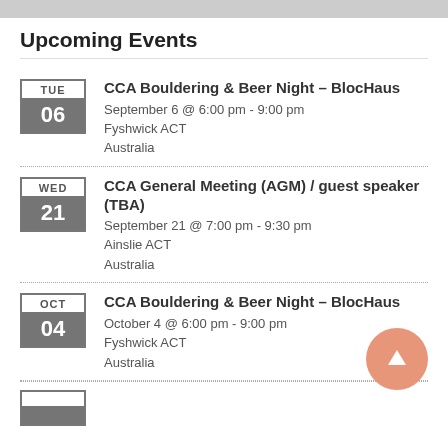Upcoming Events
CCA Bouldering & Beer Night – BlocHaus
September 6 @ 6:00 pm - 9:00 pm
Fyshwick ACT
Australia
CCA General Meeting (AGM) / guest speaker (TBA)
September 21 @ 7:00 pm - 9:30 pm
Ainslie ACT
Australia
CCA Bouldering & Beer Night – BlocHaus
October 4 @ 6:00 pm - 9:00 pm
Fyshwick ACT
Australia